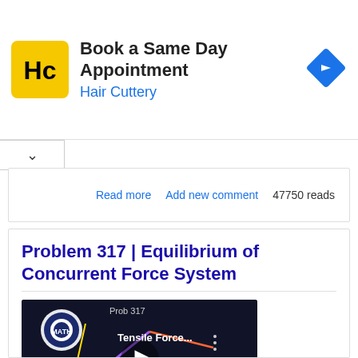[Figure (advertisement): Hair Cuttery ad banner: Book a Same Day Appointment with HC logo and navigation icon]
Read more   Add new comment   47750 reads
Problem 317 | Equilibrium of Concurrent Force System
[Figure (screenshot): YouTube video thumbnail for Tensile Force problem related to Equilibrium of Concurrent Forces, showing MATHalino logo]